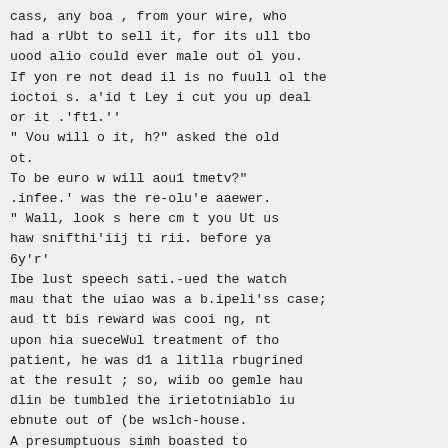cass, any boa , from your wire, who had a rUbt to sell it, for its ull tbo uood alio could ever male out ol you. If yon re not dead il is no fuull ol the ioctoi s. a'id t Ley i cut you up deal or it .'ft1.''
" Vou will o it, h?" asked the old ot.
To be euro w will aou1 tmetv?"
.infee.' was the re-olu'e aaewer.
" Wall, look s here cm t you Ut us haw snifthi'iij ti rii. before ya 6y'r'
Ibe lust speech sati.-ued the watch mau that the uiao was a b.ipeli'ss case; aud tt bis reward was cooi ng, nt upon hia sueceWul treatment of tho patient, he was d1 a litlla rbugrined at the result ; so, wiib oo gemle hau dlin be tumbled the irietotniablo iu ebnute out of (be wslch-house.
A presumptuous simh boasted to Henry Ward R-echer that bo could preach half an hour oo any textia tbo lliblo. "tfuppse voa try thla oue."